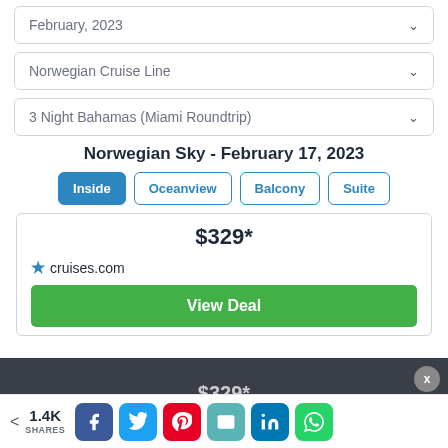February, 2023
Norwegian Cruise Line
3 Night Bahamas (Miami Roundtrip)
Norwegian Sky - February 17, 2023
Inside
Oceanview
Balcony
Suite
$329*
cruises.com
View Deal
$329*
1.4K SHARES